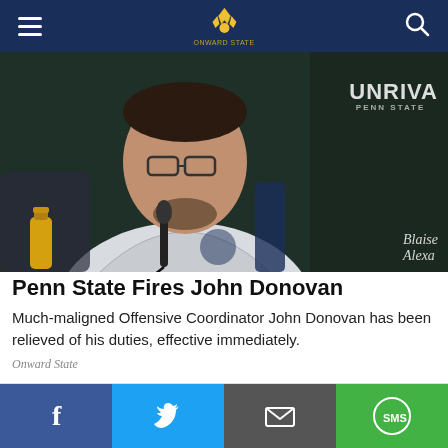Onward State navigation bar with hamburger menu, logo, and search icon
[Figure (photo): Penn State coach James Franklin at a press conference in a Penn State branded white Nike jacket, speaking at a microphone. A Gatorade bottle is visible bottom left. UNRIVAL PENN STATE branding visible top right. Photo credit: Blaise Alexander.]
Penn State Fires John Donovan
Much-maligned Offensive Coordinator John Donovan has been relieved of his duties, effective immediately.
Onward State
[Figure (photo): Electrical outlets on a wall with visible mold/dirt growth nearby.]
Social sharing bar: Facebook, Twitter, Email, SMS